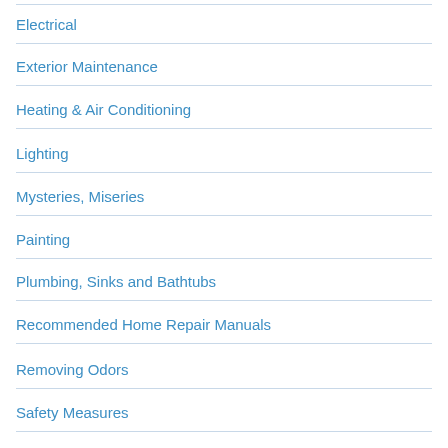Electrical
Exterior Maintenance
Heating & Air Conditioning
Lighting
Mysteries, Miseries
Painting
Plumbing, Sinks and Bathtubs
Recommended Home Repair Manuals
Removing Odors
Safety Measures